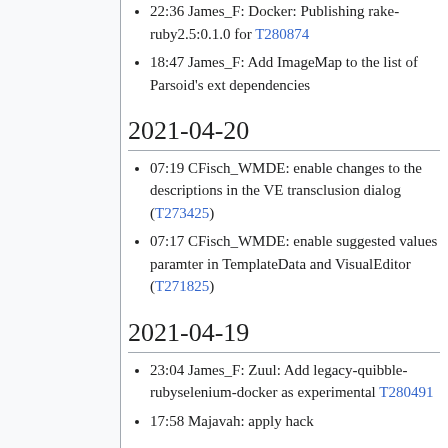22:36 James_F: Docker: Publishing rake-ruby2.5:0.1.0 for T280874
18:47 James_F: Add ImageMap to the list of Parsoid's ext dependencies
2021-04-20
07:19 CFisch_WMDE: enable changes to the descriptions in the VE transclusion dialog (T273425)
07:17 CFisch_WMDE: enable suggested values paramter in TemplateData and VisualEditor (T271825)
2021-04-19
23:04 James_F: Zuul: Add legacy-quibble-rubyselenium-docker as experimental T280491
17:58 Majavah: apply hack